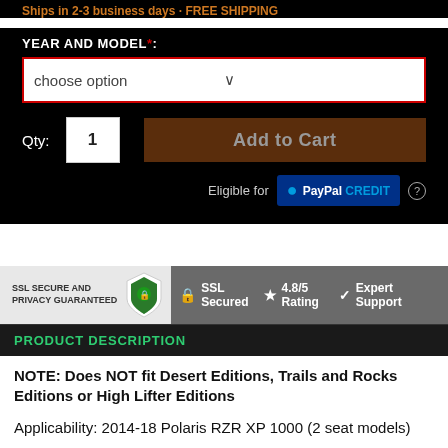Ships in 2-3 business days · FREE SHIPPING
YEAR AND MODEL*:
choose option
Qty: 1
Add to Cart
Eligible for PayPal CREDIT
[Figure (infographic): SSL Secure and Privacy Guaranteed badge with SSL Secured, 4.8/5 Rating, and Expert Support icons]
PRODUCT DESCRIPTION
NOTE: Does NOT fit Desert Editions, Trails and Rocks Editions or High Lifter Editions
Applicability: 2014-18 Polaris RZR XP 1000 (2 seat models)
The Polaris RZR XP 1000 is a powerful machine and you